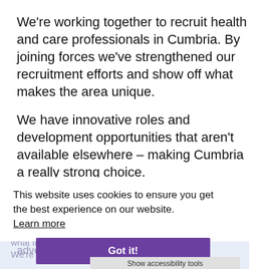We're working together to recruit health and care professionals in Cumbria. By joining forces we've strengthened our recruitment efforts and show off what makes the area unique.
We have innovative roles and development opportunities that aren't available elsewhere – making Cumbria a really strong choice.
Recruitment brand – is this you?
We have developed a new look for recruitment that describes the kind of people we're looking for and uses images from local people showing what they love about living and working here. We're look adventures
This website uses cookies to ensure you get the best experience on our website. Learn more
Got it!
Show accessibility tools